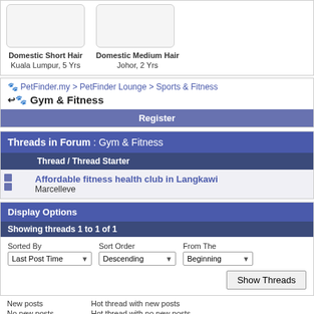[Figure (screenshot): Two pet profile cards showing cat breed images with labels: 'Domestic Short Hair, Kuala Lumpur, 5 Yrs' and 'Domestic Medium Hair, Johor, 2 Yrs']
PetFinder.my > PetFinder Lounge > Sports & Fitness
Gym & Fitness
Register
Threads in Forum : Gym & Fitness
| Thread / Thread Starter |
| --- |
| Affordable fitness health club in Langkawi
Marcelleve |
Display Options
Showing threads 1 to 1 of 1
Sorted By: Last Post Time | Sort Order: Descending | From The: Beginning
New posts
Hot thread with new posts
No new posts
Hot thread with no new posts